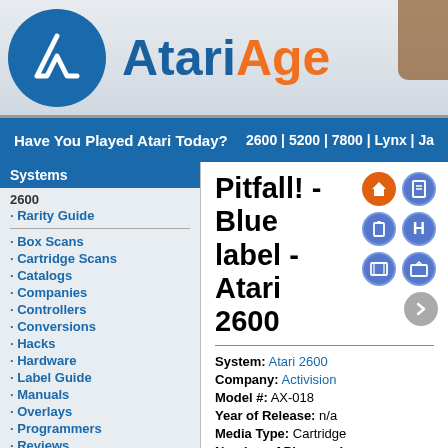AtariAge
Have You Played Atari Today? 2600 | 5200 | 7800 | Lynx | Ja...
Systems
2600
Rarity Guide
Box Scans
Cartridge Scans
Catalogs
Companies
Controllers
Conversions
Hacks
Hardware
Label Guide
Manuals
Overlays
Programmers
Reviews
Screenshots
Tips & Cheats
Forum
Pitfall! - Blue label - Atari 2600
System: Atari 2600
Company: Activision
Model #: AX-018
Year of Release: n/a
Media Type: Cartridge
Number of Players: 1
Controller: Atari Joystick
Other Labels:
Standard